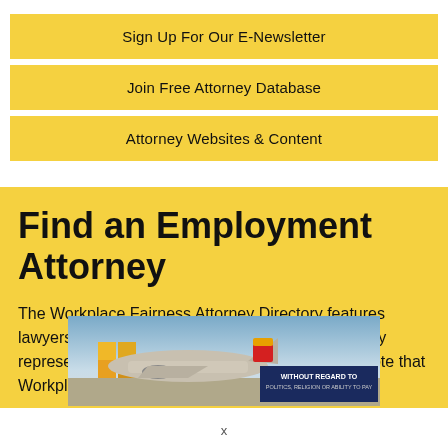Sign Up For Our E-Newsletter
Join Free Attorney Database
Attorney Websites & Content
Find an Employment Attorney
The Workplace Fairness Attorney Directory features lawyers from across the United States who primarily represent workers in employment cases. Please note that Workplace Fairness
[Figure (photo): Advertisement banner showing cargo aircraft being loaded, with text 'WITHOUT REGARD TO POLITICS, RELIGION OR ABILITY TO PAY']